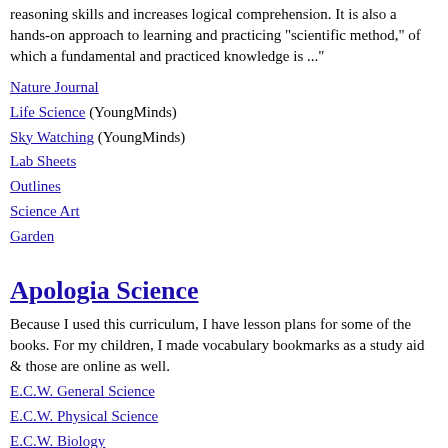reasoning skills and increases logical comprehension. It is also a hands-on approach to learning and practicing "scientific method," of which a fundamental and practiced knowledge is ..."
Nature Journal
Life Science (YoungMinds)
Sky Watching (YoungMinds)
Lab Sheets
Outlines
Science Art
Garden
Apologia Science
Because I used this curriculum, I have lesson plans for some of the books. For my children, I made vocabulary bookmarks as a study aid & those are online as well.
E.C.W. General Science
E.C.W. Physical Science
E.C.W. Biology
Apologia's Young Explorer Series TOC Planners
Donated Co-op Schedules